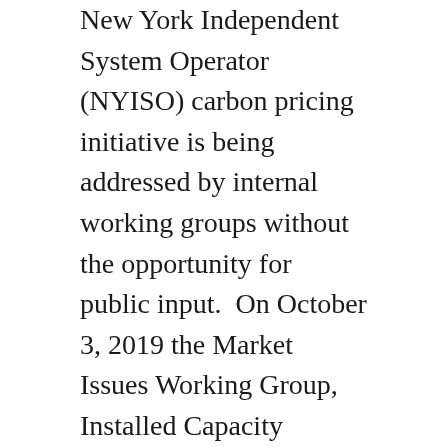New York Independent System Operator (NYISO) carbon pricing initiative is being addressed by internal working groups without the opportunity for public input.  On October 3, 2019 the Market Issues Working Group, Installed Capacity Working Group, and Price Responsive Load Working Group Meeting included a presentation by the Analysis Group entitled “Potential New Carbon Pricing in the NYISO Market”.  This post addresses that presentation.
Background
The Analysis Group was hired by the NYISO to examine potential economic impacts of the proposed carbon pricing mechanism for NY’s